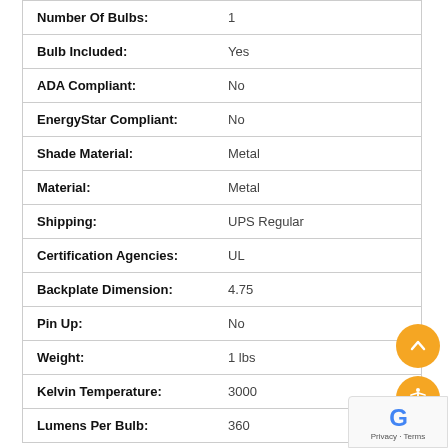| Attribute | Value |
| --- | --- |
| Number Of Bulbs: | 1 |
| Bulb Included: | Yes |
| ADA Compliant: | No |
| EnergyStar Compliant: | No |
| Shade Material: | Metal |
| Material: | Metal |
| Shipping: | UPS Regular |
| Certification Agencies: | UL |
| Backplate Dimension: | 4.75 |
| Pin Up: | No |
| Weight: | 1 lbs |
| Kelvin Temperature: | 3000 |
| Lumens Per Bulb: | 360 |